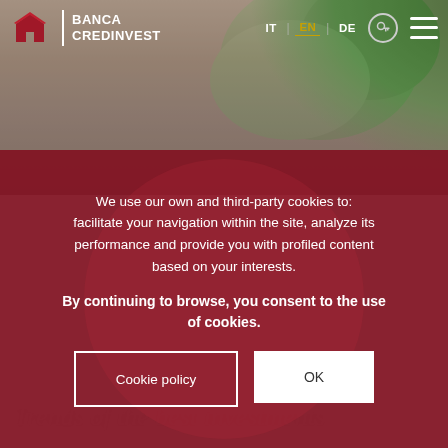[Figure (screenshot): Banca Credinvest website header with logo, navigation (IT, EN, DE), plant photo background]
BANCA CREDINVEST — IT | EN | DE
Trends of the best investments
We use our own and third-party cookies to: facilitate your navigation within the site, analyze its performance and provide you with profiled content based on your interests.
By continuing to browse, you consent to the use of cookies.
Cookie policy
OK